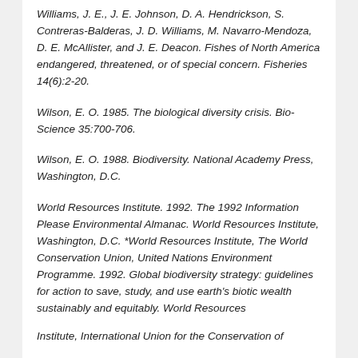Williams, J. E., J. E. Johnson, D. A. Hendrickson, S. Contreras-Balderas, J. D. Williams, M. Navarro-Mendoza, D. E. McAllister, and J. E. Deacon. Fishes of North America endangered, threatened, or of special concern. Fisheries 14(6):2-20.
Wilson, E. O. 1985. The biological diversity crisis. BioScience 35:700-706.
Wilson, E. O. 1988. Biodiversity. National Academy Press, Washington, D.C.
World Resources Institute. 1992. The 1992 Information Please Environmental Almanac. World Resources Institute, Washington, D.C. *World Resources Institute, The World Conservation Union, United Nations Environment Programme. 1992. Global biodiversity strategy: guidelines for action to save, study, and use earth's biotic wealth sustainably and equitably. World Resources
Institute, International Union for the Conservation of